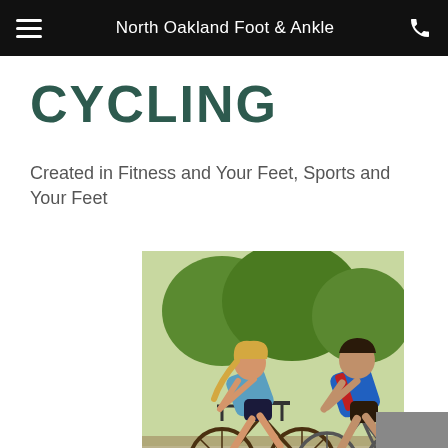North Oakland Foot & Ankle
CYCLING
Created in Fitness and Your Feet, Sports and Your Feet
[Figure (photo): Two cyclists, a woman and a man, riding road bikes outdoors in athletic gear]